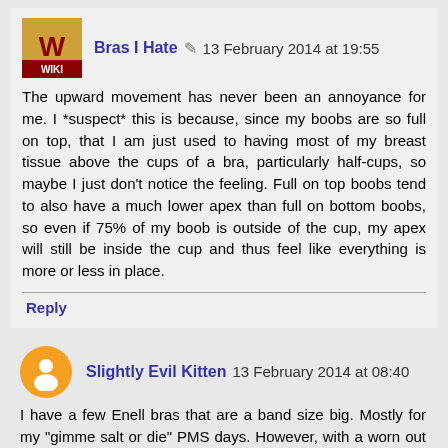Bras I Hate ✎ 13 February 2014 at 19:55
The upward movement has never been an annoyance for me. I *suspect* this is because, since my boobs are so full on top, that I am just used to having most of my breast tissue above the cups of a bra, particularly half-cups, so maybe I just don't notice the feeling. Full on top boobs tend to also have a much lower apex than full on bottom boobs, so even if 75% of my boob is outside of the cup, my apex will still be inside the cup and thus feel like everything is more or less in place.
Reply
Slightly Evil Kitten 13 February 2014 at 08:40
I have a few Enell bras that are a band size big. Mostly for my "gimme salt or die" PMS days. However, with a worn out compression top (still stretchy, getting holes), they're